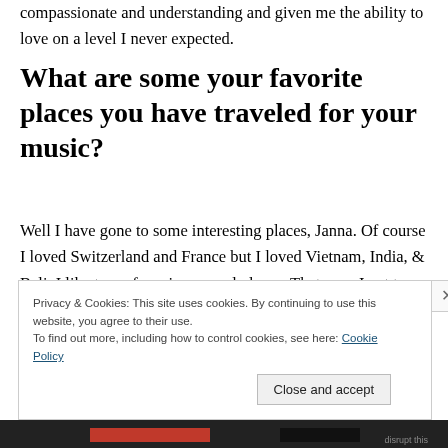compassionate and understanding and given me the ability to love on a level I never expected.
What are some your favorite places you have traveled for your music?
Well I have gone to some interesting places, Janna. Of course I loved Switzerland and France but I loved Vietnam, India, & Bali. I like to perform in unusual places. That way, I get to see more of the world.
Privacy & Cookies: This site uses cookies. By continuing to use this website, you agree to their use.
To find out more, including how to control cookies, see here: Cookie Policy
Close and accept